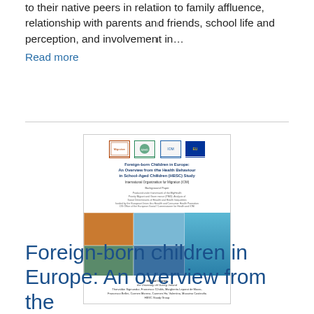to their native peers in relation to family affluence, relationship with parents and friends, school life and perception, and involvement in…
Read more
[Figure (illustration): Book cover of 'Foreign-born Children in Europe: An Overview from the Health Behaviour in School-Aged Children (HBSC) Study', an IOM Background Paper, showing logos of partner organizations at top, the title text, and a collage of children's photos on a blue background at the bottom.]
Foreign-born children in Europe: An overview from the